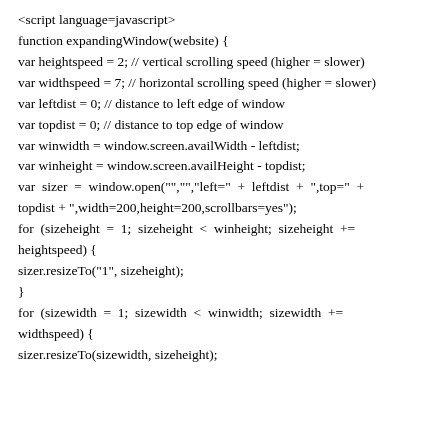<script language=javascript>
function expandingWindow(website) {
var heightspeed = 2; // vertical scrolling speed (higher = slower)
var widthspeed = 7; // horizontal scrolling speed (higher = slower)
var leftdist = 0; // distance to left edge of window
var topdist = 0; // distance to top edge of window
var winwidth = window.screen.availWidth - leftdist;
var winheight = window.screen.availHeight - topdist;
var sizer = window.open("","","left=" + leftdist + ",top=" + topdist + ",width=200,height=200,scrollbars=yes");
for (sizeheight = 1; sizeheight < winheight; sizeheight += heightspeed) {
sizer.resizeTo("1", sizeheight);
}
for (sizewidth = 1; sizewidth < winwidth; sizewidth += widthspeed) {
sizer.resizeTo(sizewidth, sizeheight);